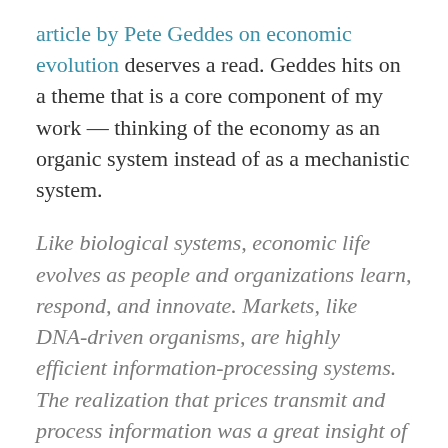article by Pete Geddes on economic evolution deserves a read. Geddes hits on a theme that is a core component of my work — thinking of the economy as an organic system instead of as a mechanistic system.
Like biological systems, economic life evolves as people and organizations learn, respond, and innovate. Markets, like DNA-driven organisms, are highly efficient information-processing systems. The realization that prices transmit and process information was a great insight of the 20th century.
Geddes then goes on to discuss both Hayek's insights on the use of knowledge in society (which is the inspiration for the name of this website), and Radford's seminal article on the